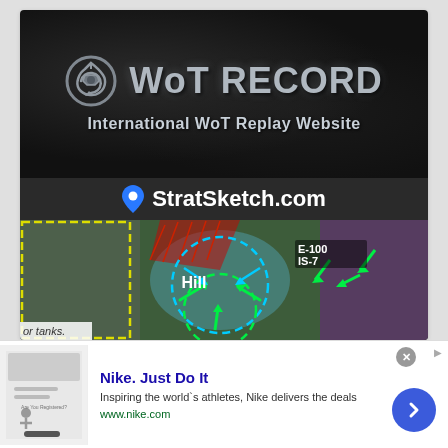[Figure (screenshot): WoT Record banner — dark leather-texture background with metallic tank icon and text 'WoT RECORD' and subtitle 'International WoT Replay Website']
[Figure (screenshot): StratSketch.com banner — dark header with blue map pin icon and site name, below it a tactical game map with colored arrows and zones labeled E-100, IS-7, Hill, and partial text 'or tanks']
[Figure (screenshot): Nike ad banner — thumbnail image, title 'Nike. Just Do It', description 'Inspiring the world`s athletes, Nike delivers the deals', URL 'www.nike.com', blue circular arrow CTA button]